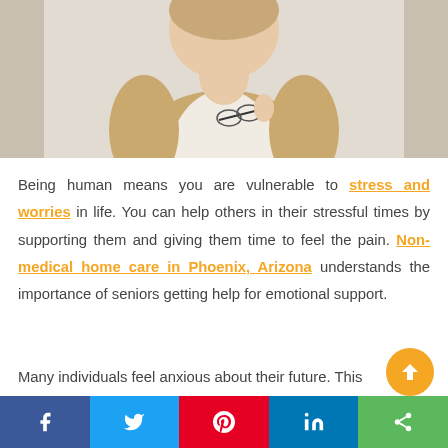[Figure (photo): Woman in a tan knit cardigan holding glasses near her chest against a light background]
Being human means you are vulnerable to stress and worries in life. You can help others in their stressful times by supporting them and giving them time to feel the pain. Non-medical home care in Phoenix, Arizona understands the importance of seniors getting help for emotional support.
Many individuals feel anxious about their future. This
f  twitter  pinterest  in  share